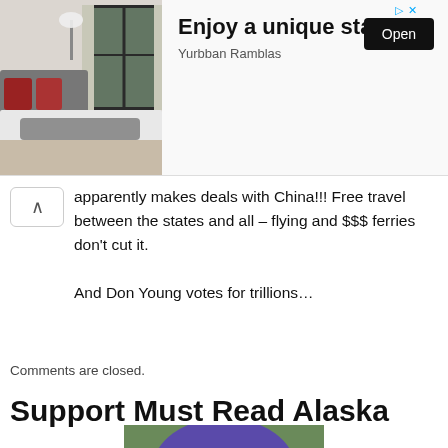[Figure (photo): Ad banner for Yurbban Ramblas hotel showing a stylish bedroom with dark window frames, white bedding, red pillows, and a gray throw blanket. Includes 'Enjoy a unique stay' headline with an Open button.]
apparently makes deals with China!!! Free travel between the states and all – flying and $$$ ferries don't cut it.
And Don Young votes for trillions…
Comments are closed.
Support Must Read Alaska
[Figure (photo): Portrait photo of a person wearing a purple/blue beanie hat with yellow stars, looking at the camera outdoors with green foliage in the background.]